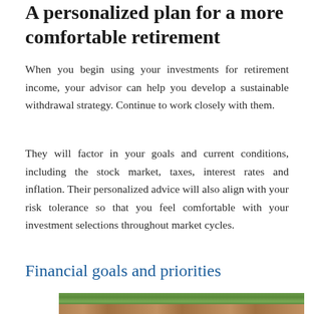A personalized plan for a more comfortable retirement
When you begin using your investments for retirement income, your advisor can help you develop a sustainable withdrawal strategy. Continue to work closely with them.
They will factor in your goals and current conditions, including the stock market, taxes, interest rates and inflation. Their personalized advice will also align with your risk tolerance so that you feel comfortable with your investment selections throughout market cycles.
Financial goals and priorities
[Figure (photo): Aerial photograph of a suburban neighborhood with houses surrounded by trees]